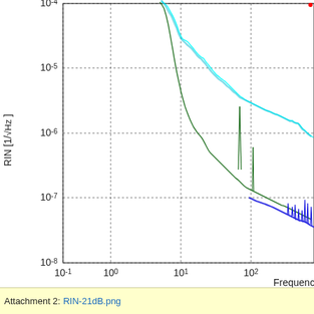[Figure (continuous-plot): Log-log plot of RIN (Relative Intensity Noise) in units of 1/sqrt(Hz) vs Frequency. Y-axis spans 10^-8 to 10^-4, X-axis spans 10^-1 to beyond 10^2 Hz. Three traces: cyan (highest noise), dark green (middle), and blue (lowest noise, visible at high frequencies). Dashed gridlines at each decade on both axes. Y-axis label: RIN [1/sqrt(Hz)], X-axis label: Frequency.]
Attachment 2: RIN-21dB.png